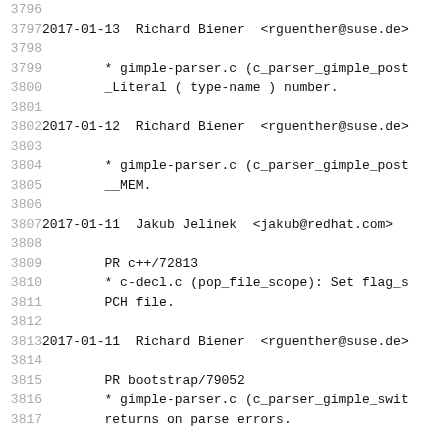3796 (partial line, cut off at top)
3797   2017-01-13  Richard Biener  <rguenther@suse.de>
3798
3799         * gimple-parser.c (c_parser_gimple_post
3800         _Literal ( type-name ) number.
3801
3802   2017-01-12  Richard Biener  <rguenther@suse.de>
3803
3804         * gimple-parser.c (c_parser_gimple_post
3805         __MEM.
3806
3807   2017-01-11  Jakub Jelinek  <jakub@redhat.com>
3808
3809         PR c++/72813
3810         * c-decl.c (pop_file_scope): Set flag_s
3811         PCH file.
3812
3813   2017-01-11  Richard Biener  <rguenther@suse.de>
3814
3815         PR bootstrap/79052
3816         * gimple-parser.c (c_parser_gimple_swit
3817         returns on parse errors.